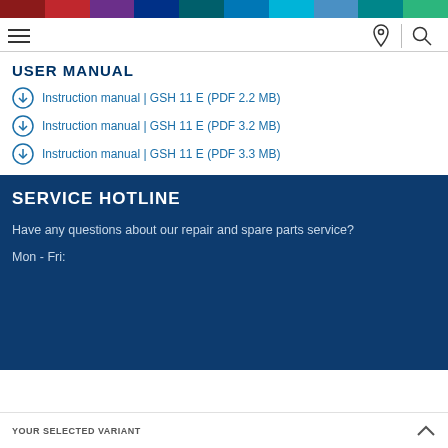[Figure (other): Horizontal color bar with segments: dark red, red, purple, dark blue, teal, light blue, cyan, medium blue, blue-green, green]
[Figure (other): Navigation bar with hamburger menu on left, location pin icon and search icon on right separated by vertical line]
USER MANUAL
Instruction manual | GSH 11 E (PDF 2.2 MB)
Instruction manual | GSH 11 E (PDF 3.2 MB)
Instruction manual | GSH 11 E (PDF 3.3 MB)
SERVICE HOTLINE
Have any questions about our repair and spare parts service?
Mon - Fri:
YOUR SELECTED VARIANT